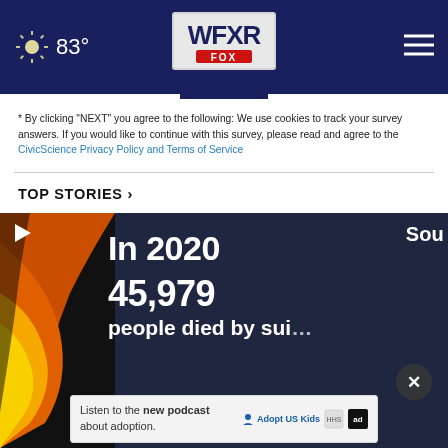WFXR FOX — 83°
* By clicking "NEXT" you agree to the following: We use cookies to track your survey answers. If you would like to continue with this survey, please read and agree to the CivicScience Privacy Policy and Terms of Service
TOP STORIES ›
[Figure (screenshot): Video thumbnail showing dark background with orange/yellow flame graphic on left, white text reading 'In 2020' and '45,979' and 'people died by sui[cide]', plus 'Sou' label in top right corner and play button in top left. An ad banner overlay at bottom reads 'Listen to the new podcast about adoption.' with Adopt US Kids and ad logos.]